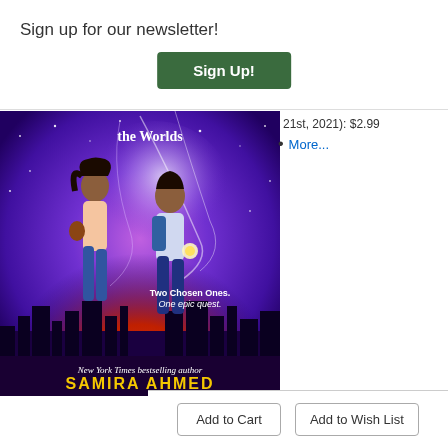Sign up for our newsletter!
Sign Up!
21st, 2021): $2.99
More...
[Figure (illustration): Book cover for a title by Samira Ahmed. Shows two young people running against a purple and red cosmic background with a city skyline silhouette. Text on cover reads 'the Worlds', 'Two Chosen Ones. One epic quest.', 'New York Times bestselling author', 'SAMIRA AHMED'.]
Add to Cart
Add to Wish List